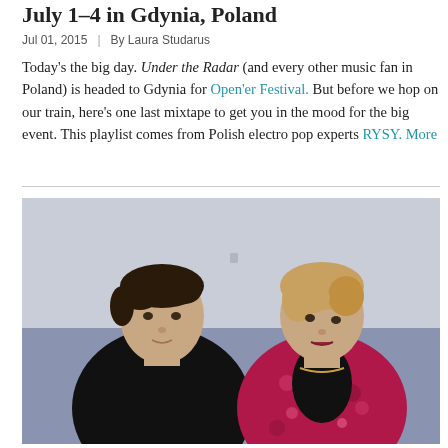July 1-4 in Gdynia, Poland
Jul 01, 2015  |  By Laura Studarus
Today's the big day. Under the Radar (and every other music fan in Poland) is headed to Gdynia for Open'er Festival. But before we hop on our train, here's one last mixtape to get you in the mood for the big event. This playlist comes from Polish electro pop experts RYSY. More
[Figure (photo): Two young people standing against a light blue/grey wall. On the left, a young man with dark short hair wearing a black sweater. On the right, a young woman with blonde hair wearing a black top and a floral pink/magenta jacket.]